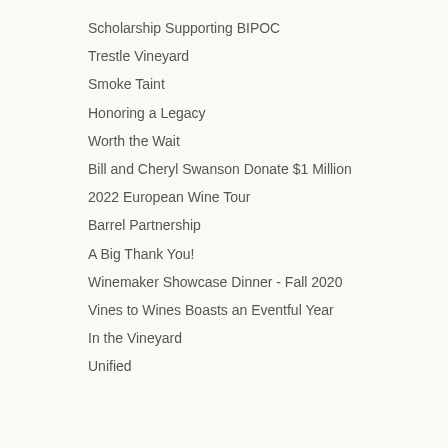Scholarship Supporting BIPOC
Trestle Vineyard
Smoke Taint
Honoring a Legacy
Worth the Wait
Bill and Cheryl Swanson Donate $1 Million
2022 European Wine Tour
Barrel Partnership
A Big Thank You!
Winemaker Showcase Dinner - Fall 2020
Vines to Wines Boasts an Eventful Year
In the Vineyard
Unified